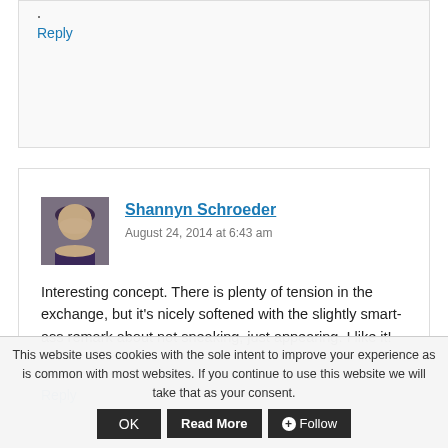·
Reply
[Figure (photo): Avatar photo of Shannyn Schroeder, a woman with long dark hair]
Shannyn Schroeder
August 24, 2014 at 6:43 am
Interesting concept. There is plenty of tension in the exchange, but it's nicely softened with the slightly smart-ass remark about not sneaking, just appearing. I like it!
Reply
This website uses cookies with the sole intent to improve your experience as is common with most websites. If you continue to use this website we will take that as your consent.
OK
Read More
Follow